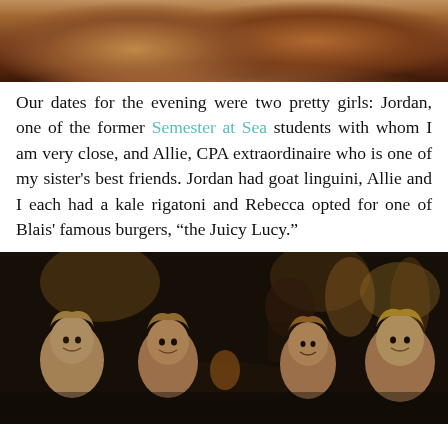[Figure (photo): Top portion of a photo showing what appears to be a wooden table surface, cropped at the top of the page.]
Our dates for the evening were two pretty girls: Jordan, one of the former Semester at Sea students with whom I am very close, and Allie, CPA extraordinaire who is one of my sister's best friends. Jordan had goat linguini, Allie and I each had a kale rigatoni and Rebecca opted for one of Blais' famous burgers, “the Juicy Lucy.”
[Figure (photo): Photo of four young blonde women sitting together at a restaurant table in an dimly lit outdoor/indoor setting. They are smiling at the camera.]